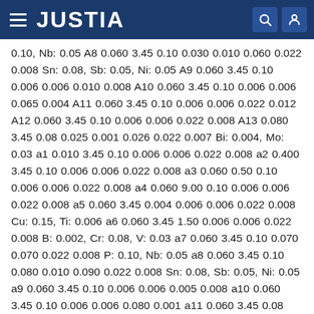JUSTIA
0.10, Nb: 0.05 A8 0.060 3.45 0.10 0.030 0.010 0.060 0.022 0.008 Sn: 0.08, Sb: 0.05, Ni: 0.05 A9 0.060 3.45 0.10 0.006 0.006 0.010 0.008 A10 0.060 3.45 0.10 0.006 0.006 0.065 0.004 A11 0.060 3.45 0.10 0.006 0.006 0.022 0.012 A12 0.060 3.45 0.10 0.006 0.006 0.022 0.008 A13 0.080 3.45 0.08 0.025 0.001 0.026 0.022 0.007 Bi: 0.004, Mo: 0.03 a1 0.010 3.45 0.10 0.006 0.006 0.022 0.008 a2 0.400 3.45 0.10 0.006 0.006 0.022 0.008 a3 0.060 0.50 0.10 0.006 0.006 0.022 0.008 a4 0.060 9.00 0.10 0.006 0.006 0.022 0.008 a5 0.060 3.45 0.004 0.006 0.006 0.022 0.008 Cu: 0.15, Ti: 0.006 a6 0.060 3.45 1.50 0.006 0.006 0.022 0.008 B: 0.002, Cr: 0.08, V: 0.03 a7 0.060 3.45 0.10 0.070 0.070 0.022 0.008 P: 0.10, Nb: 0.05 a8 0.060 3.45 0.10 0.080 0.010 0.090 0.022 0.008 Sn: 0.08, Sb: 0.05, Ni: 0.05 a9 0.060 3.45 0.10 0.006 0.006 0.005 0.008 a10 0.060 3.45 0.10 0.006 0.006 0.080 0.001 a11 0.060 3.45 0.08 0.025 0.001 0.026 0.022 0.025 Bi: 0.004, Mo: 0.03